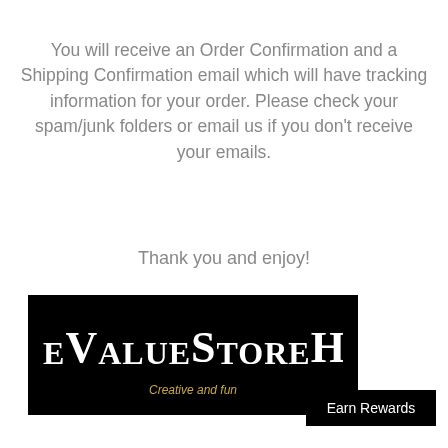You will receive an Order Confirmation and a Shipping Confirmation email which will have tracking information for your order. Please check your spam/junk folders or email us if you don't receive your emails.
Thank you and enjoy!
[Figure (logo): TheValueStoreHQ logo — black background with white stylized text reading TheValueStoreHQ and tagline 'Creative and fun' in gold/orange]
Earn Rewards